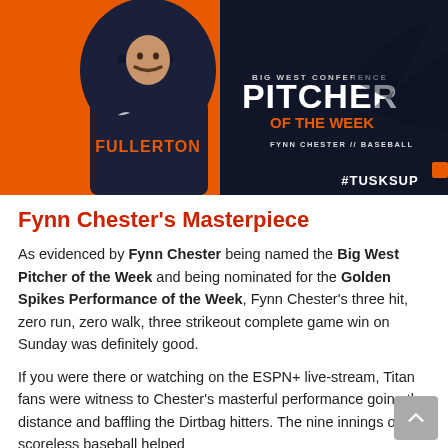[Figure (photo): Sports graphic showing a baseball player in a Fullerton uniform with a mustache and dark cap, set against an orange background on the left and dark navy on the right. Text overlay reads 'BIG WEST CONFERENCE PITCHER OF THE WEEK FYNN CHESTER // BASEBALL' with '#TUSKSUP' at the bottom right.]
Fynn Chester's Masterpiece
As evidenced by Fynn Chester being named the Big West Pitcher of the Week and being nominated for the Golden Spikes Performance of the Week, Fynn Chester's three hit, zero run, zero walk, three strikeout complete game win on Sunday was definitely good.
If you were there or watching on the ESPN+ live-stream, Titan fans were witness to Chester's masterful performance going the distance and baffling the Dirtbag hitters. The nine innings of scoreless baseball helped